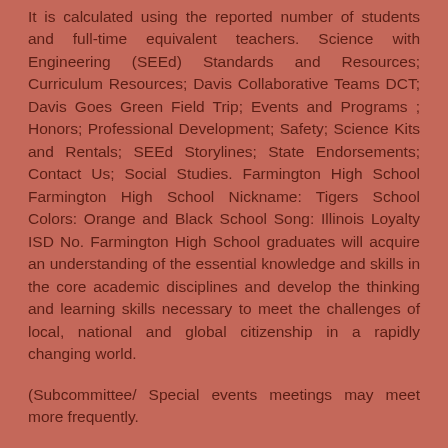It is calculated using the reported number of students and full-time equivalent teachers. Science with Engineering (SEEd) Standards and Resources; Curriculum Resources; Davis Collaborative Teams DCT; Davis Goes Green Field Trip; Events and Programs ; Honors; Professional Development; Safety; Science Kits and Rentals; SEEd Storylines; State Endorsements; Contact Us; Social Studies. Farmington High School Farmington High School Nickname: Tigers School Colors: Orange and Black School Song: Illinois Loyalty ISD No. Farmington High School graduates will acquire an understanding of the essential knowledge and skills in the core academic disciplines and develop the thinking and learning skills necessary to meet the challenges of local, national and global citizenship in a rapidly changing world.
(Subcommittee/ Special events meetings may meet more frequently.
Phone:
Farmington High is an interesting school. The diversity inclusion is also an issue. Average ACT composite score